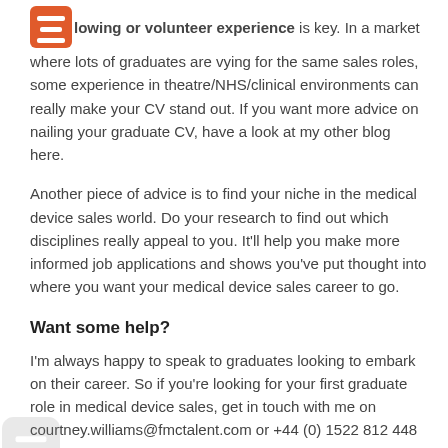lowing or volunteer experience is key. In a market where lots of graduates are vying for the same sales roles, some experience in theatre/NHS/clinical environments can really make your CV stand out. If you want more advice on nailing your graduate CV, have a look at my other blog here.
Another piece of advice is to find your niche in the medical device sales world. Do your research to find out which disciplines really appeal to you. It'll help you make more informed job applications and shows you've put thought into where you want your medical device sales career to go.
Want some help?
I'm always happy to speak to graduates looking to embark on their career. So if you're looking for your first graduate role in medical device sales, get in touch with me on courtney.williams@fmctalent.com or +44 (0) 1522 812 448 for an exploratory chat.